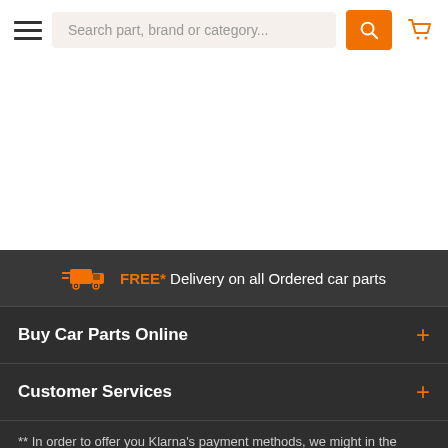Search part, brand or category...
[Figure (infographic): Free delivery promotional banner with truck icon: FREE* Delivery on all Ordered car parts]
Buy Car Parts Online
Customer Services
** In order to offer you Klarna's payment methods, we might in the checkout pass your personal data in the form of contact and order details to Klarna, in order for Klarna to assess whether you qualify for their payment methods and to tailor those payment methods for you. Your personal data